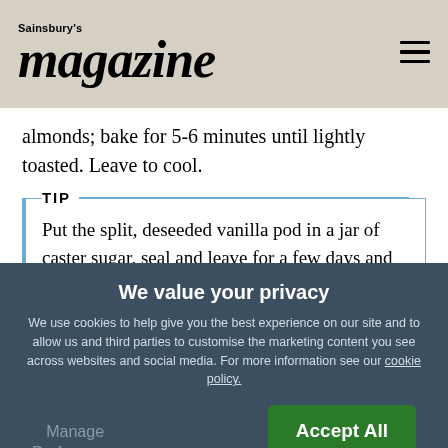Sainsbury's magazine
almonds; bake for 5-6 minutes until lightly toasted. Leave to cool.
TIP
Put the split, deseeded vanilla pod in a jar of caster sugar, seal and leave for a few days and you will have vanilla sugar – great to add to all
We value your privacy
We use cookies to help give you the best experience on our site and to allow us and third parties to customise the marketing content you see across websites and social media. For more information see our cookie policy.
Manage Preferences
Accept All Cookies